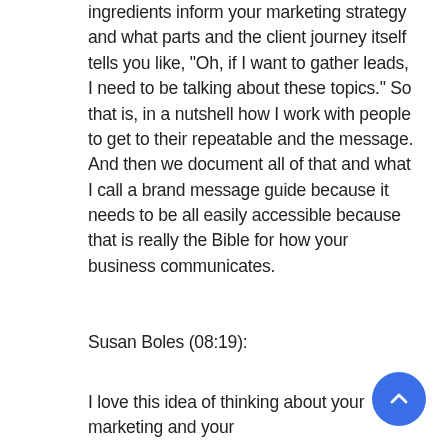ingredients inform your marketing strategy and what parts and the client journey itself tells you like, "Oh, if I want to gather leads, I need to be talking about these topics." So that is, in a nutshell how I work with people to get to their repeatable and the message. And then we document all of that and what I call a brand message guide because it needs to be all easily accessible because that is really the Bible for how your business communicates.
Susan Boles (08:19):
I love this idea of thinking about your marketing and your